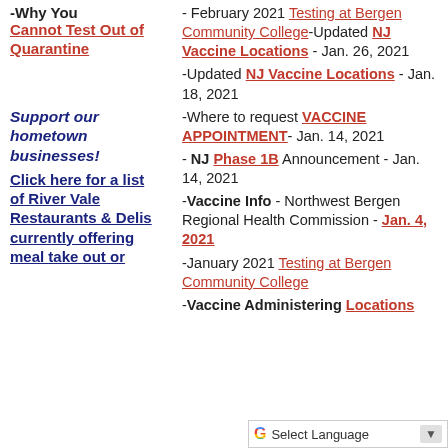-Why You Cannot Test Out of Quarantine
Support our hometown businesses! Click here for a list of River Vale Restaurants & Delis currently offering meal take out or
February 2021 Testing at Bergen Community College-Updated NJ Vaccine Locations - Jan. 26, 2021
-Updated NJ Vaccine Locations - Jan. 18, 2021
-Where to request VACCINE APPOINTMENT- Jan. 14, 2021
- NJ Phase 1B Announcement - Jan. 14, 2021
-Vaccine Info - Northwest Bergen Regional Health Commission - Jan. 4, 2021
-January 2021 Testing at Bergen Community College
-Vaccine Administering Locations